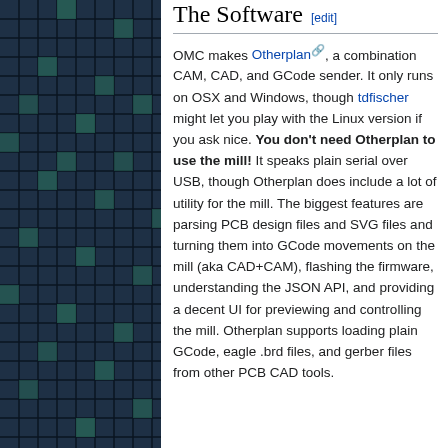[Figure (other): Dark blue-green grid/mosaic pattern image on the left side of the page, resembling a PCB or circuit board texture with dark squares and occasional teal/green highlighted cells in a grid layout.]
The Software [edit]
OMC makes Otherplan, a combination CAM, CAD, and GCode sender. It only runs on OSX and Windows, though tdfischer might let you play with the Linux version if you ask nice. You don't need Otherplan to use the mill! It speaks plain serial over USB, though Otherplan does include a lot of utility for the mill. The biggest features are parsing PCB design files and SVG files and turning them into GCode movements on the mill (aka CAD+CAM), flashing the firmware, understanding the JSON API, and providing a decent UI for previewing and controlling the mill. Otherplan supports loading plain GCode, eagle .brd files, and gerber files from other PCB CAD tools.